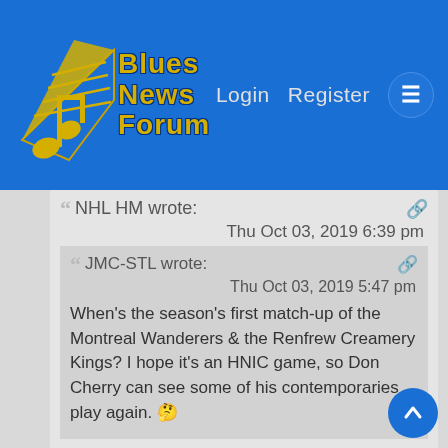[Figure (logo): Blues News Forum logo with St. Louis Blues style wing and musical note, blue and gold text reading Blues News Forum]
Login   Register   ≡
NHL HM wrote:   Thu Oct 03, 2019 6:39 pm
JMC-STL wrote:   Thu Oct 03, 2019 5:47 pm

When's the season's first match-up of the Montreal Wanderers & the Renfrew Creamery Kings? I hope it's an HNIC game, so Don Cherry can see some of his contemporaries play again. 🙄
He'll be on Saturday night around 6:50pm........can't wait!